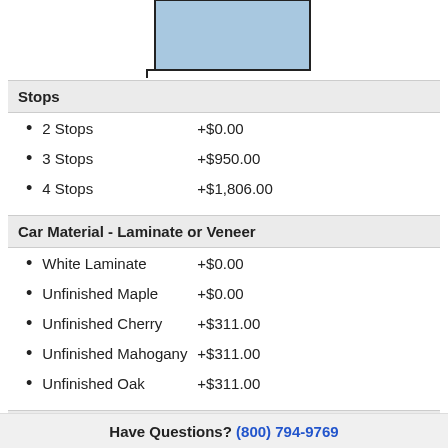[Figure (other): Partial blue rectangle diagram at top of page, resembling an elevator or floor plan schematic]
Stops
2 Stops    +$0.00
3 Stops    +$950.00
4 Stops    +$1,806.00
Car Material - Laminate or Veneer
White Laminate    +$0.00
Unfinished Maple    +$0.00
Unfinished Cherry    +$311.00
Unfinished Mahogany    +$311.00
Unfinished Oak    +$311.00
Car Finish for Wood Species
Have Questions? (800) 794-9769